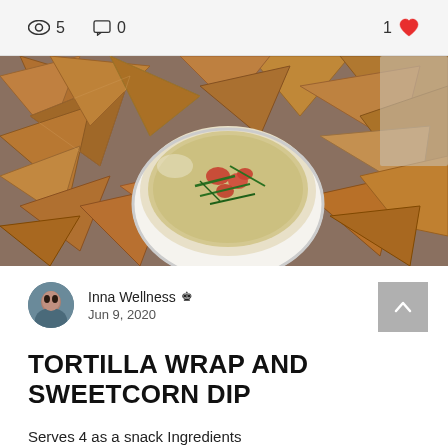👁 5   💬 0   1 ♥
[Figure (photo): Overhead photo of tortilla chips surrounding a white bowl filled with sweetcorn dip topped with tomatoes and herbs]
Inna Wellness 👑 Jun 9, 2020
TORTILLA WRAP AND SWEETCORN DIP
Serves 4 as a snack Ingredients